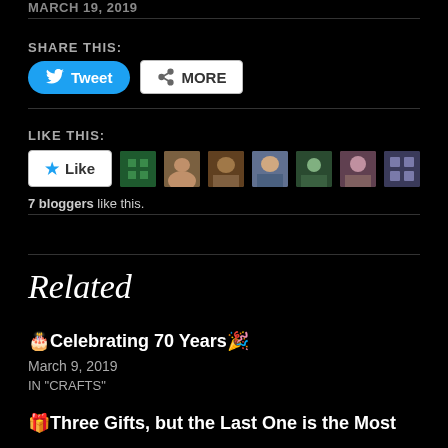MARCH 19, 2019
SHARE THIS:
[Figure (screenshot): Tweet and More share buttons]
LIKE THIS:
[Figure (screenshot): Like button with 7 blogger avatar thumbnails]
7 bloggers like this.
Related
🎂Celebrating 70 Years🎉
March 9, 2019
IN "CRAFTS"
🎁Three Gifts, but the Last One is the Most